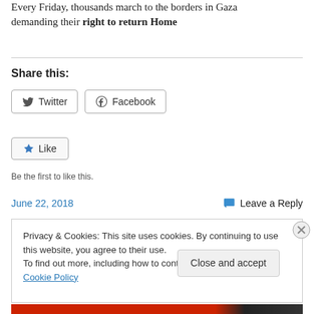Every Friday, thousands march to the borders in Gaza demanding their right to return Home
Share this:
Twitter  Facebook
Like
Be the first to like this.
June 22, 2018    Leave a Reply
Privacy & Cookies: This site uses cookies. By continuing to use this website, you agree to their use.
To find out more, including how to control cookies, see here: Cookie Policy
Close and accept